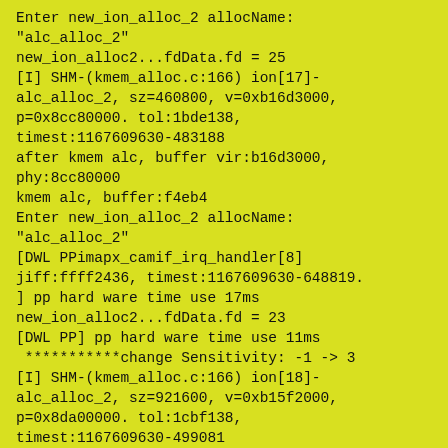Enter new_ion_alloc_2 allocName:
"alc_alloc_2"
new_ion_alloc2...fdData.fd = 25
[I] SHM-(kmem_alloc.c:166) ion[17]-alc_alloc_2, sz=460800, v=0xb16d3000, p=0x8cc80000. tol:1bde138, timest:1167609630-483188
after kmem alc, buffer vir:b16d3000, phy:8cc80000
kmem alc, buffer:f4eb4
Enter new_ion_alloc_2 allocName:
"alc_alloc_2"
[DWL PPimapx_camif_irq_handler[8] jiff:ffff2436, timest:1167609630-648819.] pp hard ware time use 17ms
new_ion_alloc2...fdData.fd = 23
[DWL PP] pp hard ware time use 11ms
 ***********change Sensitivity: -1 -> 3
[I] SHM-(kmem_alloc.c:166) ion[18]-alc_alloc_2, sz=921600, v=0xb15f2000, p=0x8da00000. tol:1cbf138,
timest:1167609630-499081